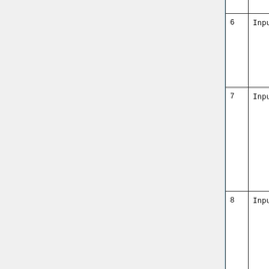| # | Name | Description |
| --- | --- | --- |
| 6 | Input_Opt%POP_KBC | T
ca
pa
co |
| 7 | Input_Opt%POP_K_POPG_OH | T
re
co
re
pl
hy
in |
| 8 | Input_Opt%POP_K_POPP_O3A | T
re
co
re
pa
P
in |